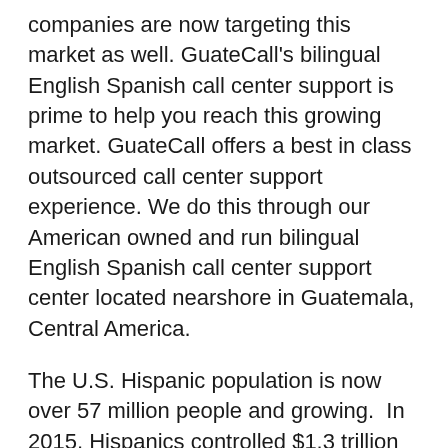companies are now targeting this market as well. GuateCall's bilingual English Spanish call center support is prime to help you reach this growing market. GuateCall offers a best in class outsourced call center support experience. We do this through our American owned and run bilingual English Spanish call center support center located nearshore in Guatemala, Central America.
The U.S. Hispanic population is now over 57 million people and growing. In 2015, Hispanics controlled $1.3 trillion in buying power, an amount larger than the GDP of Australia or Spain, according the Selig Center for Economic Growth, up 167% since the turn of the century. The increase is more than twice the 76% growth in non-Hispanic buying power during the same period. The center's projections show